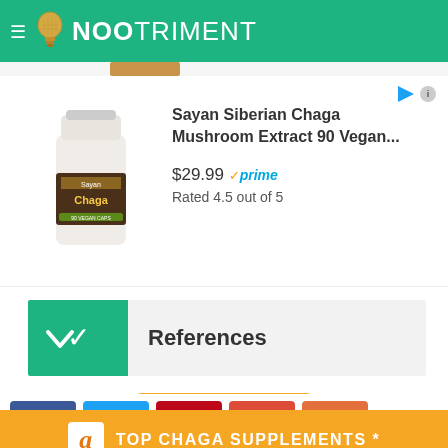NOOTRIMENT
[Figure (screenshot): Sayan Siberian Chaga Mushroom Extract supplement bottle product listing card with price $29.99 and Amazon Prime badge, rated 4.5 out of 5]
References
[Figure (infographic): Social share buttons: Facebook, Twitter, Pinterest, Google+, StumbleUpon, and share count showing 36 SHARES]
TOP CHAGA SUPPLEMENTS *